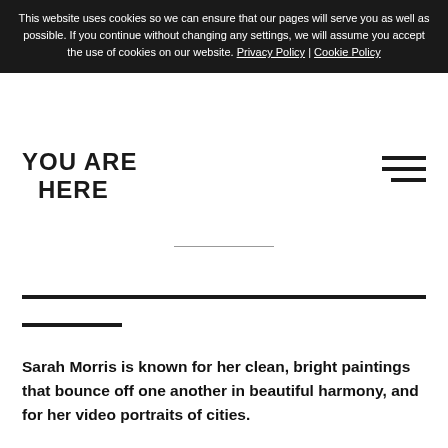This website uses cookies so we can ensure that our pages will serve you as well as possible. If you continue without changing any settings, we will assume you accept the use of cookies on our website. Privacy Policy | Cookie Policy
YOU ARE HERE
Sarah Morris is known for her clean, bright paintings that bounce off one another in beautiful harmony, and for her video portraits of cities.